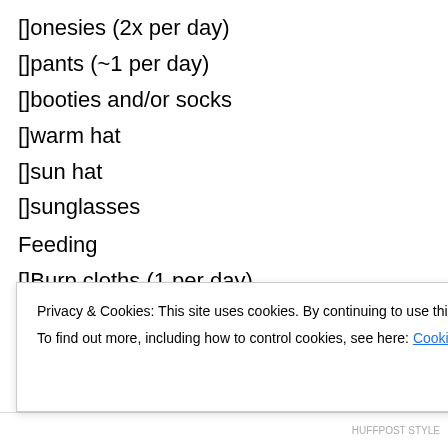[]onesies (2x per day)
[]pants (~1 per day)
[]booties and/or socks
[]warm hat
[]sun hat
[]sunglasses
Feeding
[]Burp cloths (1 per day)
[]Bibs (1 per day)
[]Bottles (5)
Sleeping
Privacy & Cookies: This site uses cookies. By continuing to use this website, you agree to their use.
To find out more, including how to control cookies, see here: Cookie Policy